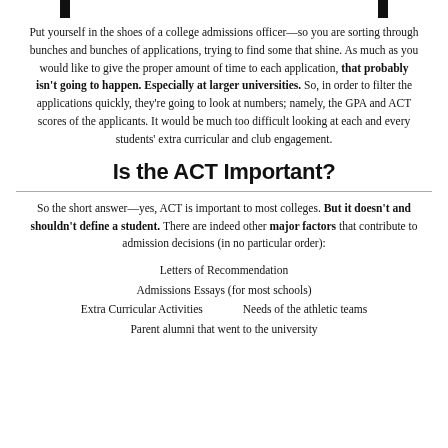Put yourself in the shoes of a college admissions officer—so you are sorting through bunches and bunches of applications, trying to find some that shine. As much as you would like to give the proper amount of time to each application, that probably isn't going to happen. Especially at larger universities. So, in order to filter the applications quickly, they're going to look at numbers; namely, the GPA and ACT scores of the applicants. It would be much too difficult looking at each and every students' extra curricular and club engagement.
Is the ACT Important?
So the short answer—yes, ACT is important to most colleges. But it doesn't and shouldn't define a student. There are indeed other major factors that contribute to admission decisions (in no particular order):
Letters of Recommendation
Admissions Essays (for most schools)
Extra Curricular Activities
Needs of the athletic teams
Parent alumni that went to the university